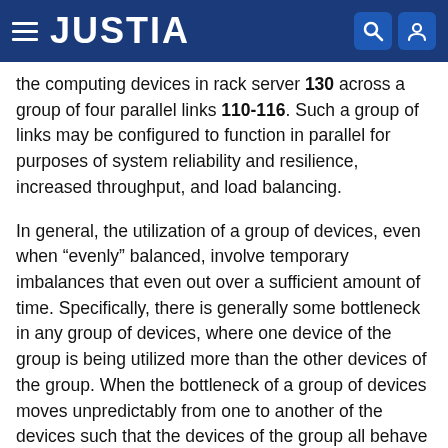JUSTIA
the computing devices in rack server 130 across a group of four parallel links 110-116. Such a group of links may be configured to function in parallel for purposes of system reliability and resilience, increased throughput, and load balancing.
In general, the utilization of a group of devices, even when “evenly” balanced, involve temporary imbalances that even out over a sufficient amount of time. Specifically, there is generally some bottleneck in any group of devices, where one device of the group is being utilized more than the other devices of the group. When the bottleneck of a group of devices moves unpredictably from one to another of the devices such that the devices of the group all behave similarly over time, utilization of the group is considered to be “balanced” within an acceptable threshold of imbalance